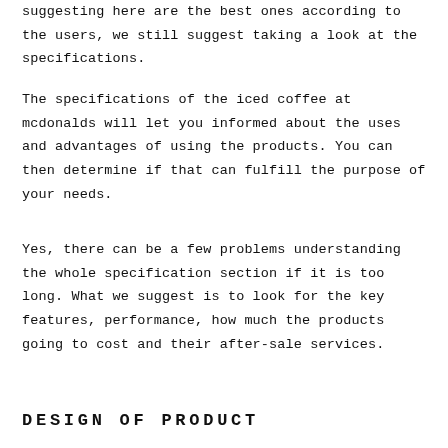suggesting here are the best ones according to the users, we still suggest taking a look at the specifications.
The specifications of the iced coffee at mcdonalds will let you informed about the uses and advantages of using the products. You can then determine if that can fulfill the purpose of your needs.
Yes, there can be a few problems understanding the whole specification section if it is too long. What we suggest is to look for the key features, performance, how much the products going to cost and their after-sale services.
DESIGN OF PRODUCT